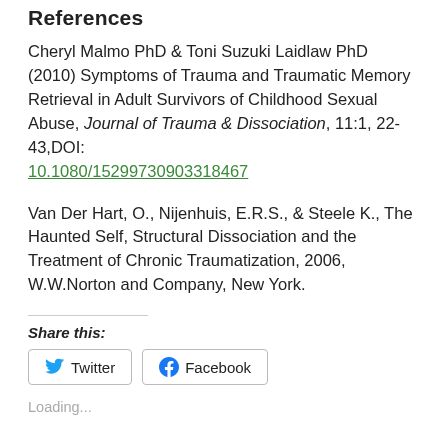References
Cheryl Malmo PhD & Toni Suzuki Laidlaw PhD (2010) Symptoms of Trauma and Traumatic Memory Retrieval in Adult Survivors of Childhood Sexual Abuse, Journal of Trauma & Dissociation, 11:1, 22-43,DOI: 10.1080/15299730903318467
Van Der Hart, O., Nijenhuis, E.R.S., & Steele K., The Haunted Self, Structural Dissociation and the Treatment of Chronic Traumatization, 2006, W.W.Norton and Company, New York.
Share this:
Twitter  Facebook
Loading...